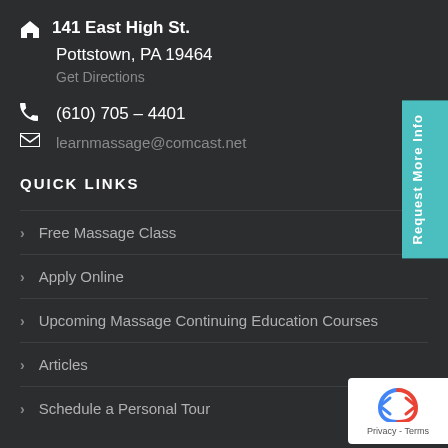141 East High St. Pottstown, PA 19464
Get Directions
(610) 705 – 4401
learnmassage@comcast.net
QUICK LINKS
Free Massage Class
Apply Online
Upcoming Massage Continuing Education Courses
Articles
Schedule a Personal Tour
Request More Info